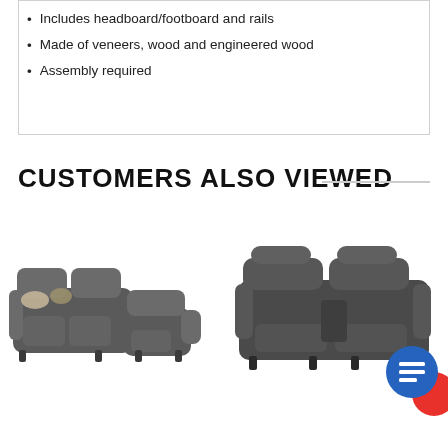Includes headboard/footboard and rails
Made of veneers, wood and engineered wood
Assembly required
CUSTOMERS ALSO VIEWED
[Figure (photo): Dark gray fabric sectional sofa with decorative pillows]
[Figure (photo): Dark gray power reclining loveseat with console]